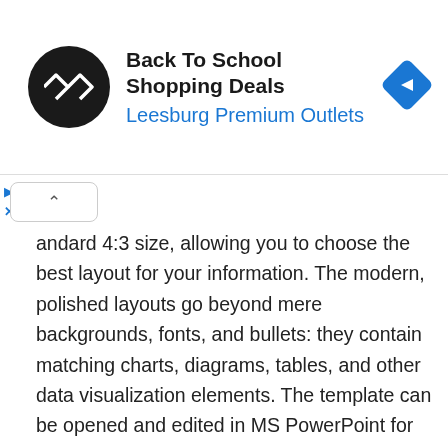[Figure (screenshot): Ad banner for Back To School Shopping Deals at Leesburg Premium Outlets, with a circular black logo with arrows, ad title, subtitle in blue, and a blue diamond navigation icon on the right.]
andard 4:3 size, allowing you to choose the best layout for your information. The modern, polished layouts go beyond mere backgrounds, fonts, and bullets: they contain matching charts, diagrams, tables, and other data visualization elements. The template can be opened and edited in MS PowerPoint for Mac 2011 or later.
Most objects in the template can be easily recolored, reshaped, moved, or removed. You can change the background to a color, gradient, or photo with simple modifications. Type or paste your own text, add and remove text boxes, and change the font if you wish. Edit the charts and diagrams to fit your data. Edit the media placeholders to replace the stock images with your own photos or pictures.